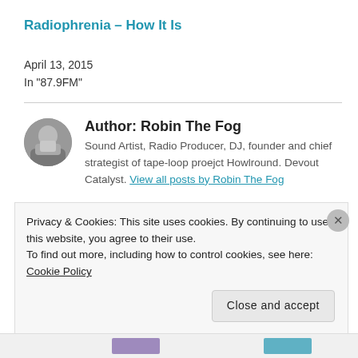Radiophrenia – How It Is
April 13, 2015
In "87.9FM"
Author: Robin The Fog
Sound Artist, Radio Producer, DJ, founder and chief strategist of tape-loop proejct Howlround. Devout Catalyst. View all posts by Robin The Fog
Privacy & Cookies: This site uses cookies. By continuing to use this website, you agree to their use.
To find out more, including how to control cookies, see here: Cookie Policy